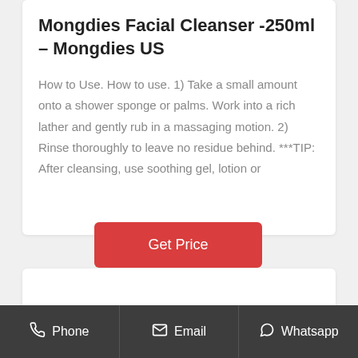Mongdies Facial Cleanser -250ml – Mongdies US
How to Use. How to use. 1) Take a small amount onto a shower sponge or palms. Work into a rich lather and gently rub in a massaging motion. 2) Rinse thoroughly to leave no residue behind. ***TIP: After cleansing, use soothing gel, lotion or
Get Price
Phone | Email | Whatsapp